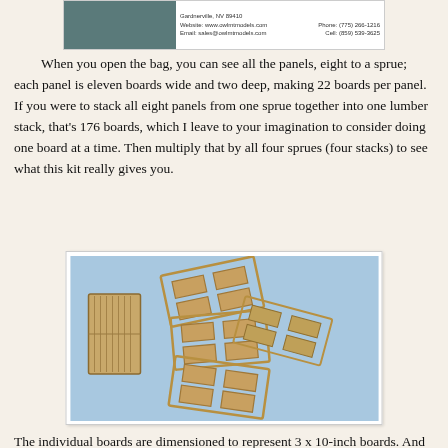[Figure (photo): Header banner with company logo/info: teal/green left panel and white right panel with contact details including website www.owlmtmodels.com, email sales@owlmtmodels.com, phone (775) 266-1216, cell (859) 539-3625, Gardnerville, NV 89410]
When you open the bag, you can see all the panels, eight to a sprue; each panel is eleven boards wide and two deep, making 22 boards per panel. If you were to stack all eight panels from one sprue together into one lumber stack, that's 176 boards, which I leave to your imagination to consider doing one board at a time. Then multiply that by all four sprues (four stacks) to see what this kit really gives you.
[Figure (photo): Photograph on light blue background showing model kit sprues with rectangular laser-cut wooden panels/boards. On the left is a rectangular stack panel and on the right are multiple sprue frames scattered and stacked together showing the individual board panels.]
The individual boards are dimensioned to represent 3 x 10-inch boards. And by the way, if you would like even more sprues to make bigger stacks, Owl Mountain has an add-on kit no. 3012 with more of them.